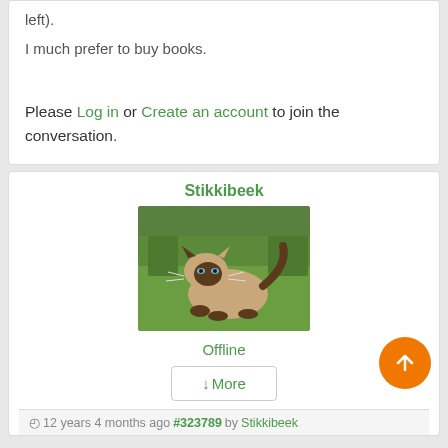left).
I much prefer to buy books.
Please Log in or Create an account to join the conversation.
Stikkibeek
[Figure (photo): A Siamese/Himalayan cat lying on green grass outdoors]
Offline
More
12 years 4 months ago #323789 by Stikkibeek